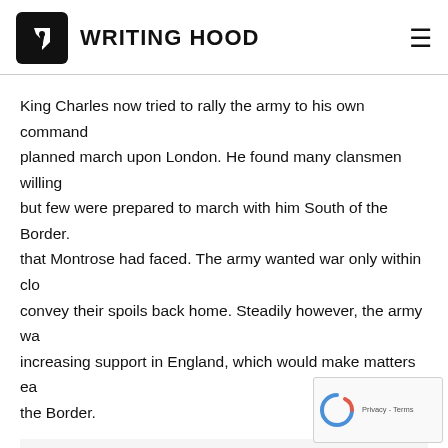WRITING HOOD
King Charles now tried to rally the army to his own command planned march upon London. He found many clansmen willing but few were prepared to march with him South of the Border. that Montrose had faced. The army wanted war only within clo convey their spoils back home. Steadily however, the army wa increasing support in England, which would make matters ea the Border.
Also Read  How to Keep Your Articles in Constant Circul
Cromwell was severely fevered at this time, and unable to ta growing Royalist forces. He was exhausted after mo contracted Malaria there, from the mosquitoes that